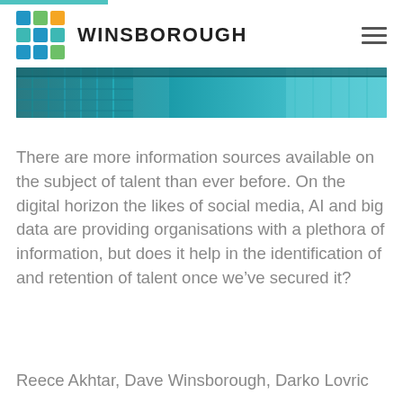WINSBOROUGH
[Figure (photo): Architectural photo of a modern glass building with teal/blue tones, partial view of exterior facade]
There are more information sources available on the subject of talent than ever before. On the digital horizon the likes of social media, AI and big data are providing organisations with a plethora of information, but does it help in the identification of and retention of talent once we've secured it?
Reece Akhtar, Dave Winsborough, Darko Lovric